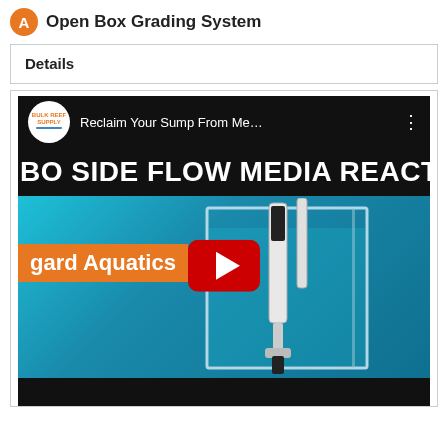Open Box Grading System
Details
[Figure (screenshot): YouTube video thumbnail showing 'Reclaim Your Sump From Me...' by Bulk Reef Supply, titled 'BO SIDE FLOW MEDIA REACT' with 'gard Aquatics' orange band, featuring a media reactor in an aquarium, with YouTube play button overlay.]